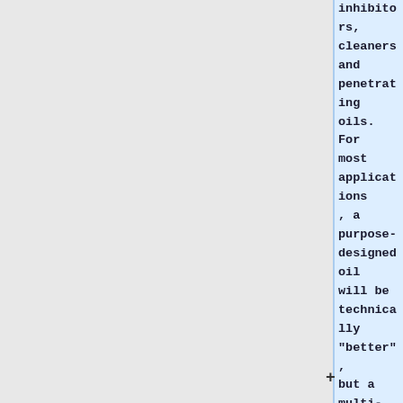inhibitors, cleaners and penetrating oils. For most applications, a purpose-designed oil will be technically "better", but a multi-purpose oil is often ideal for a relatively undemanding application like a squeaking door hinge or inserting